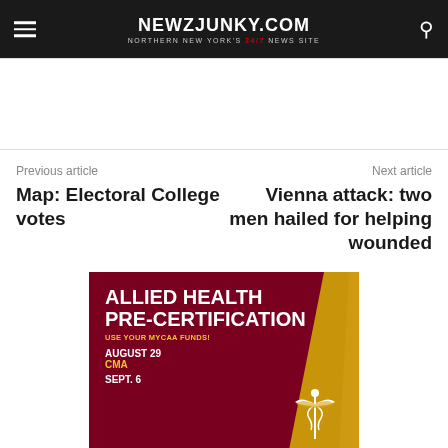NEWZJUNKY.COM — Northern New York's 24/7 News Site
Previous article
Map: Electoral College votes
Next article
Vienna attack: two men hailed for helping wounded
[Figure (infographic): Allied Health Pre-Certification advertisement banner with dark red background and gold diagonal accent. Text reads: ALLIED HEALTH PRE-CERTIFICATION, USE YOUR MYCAA FUNDS!, AUGUST 29, CMA, SEPT. 6 with a caduceus emblem.]